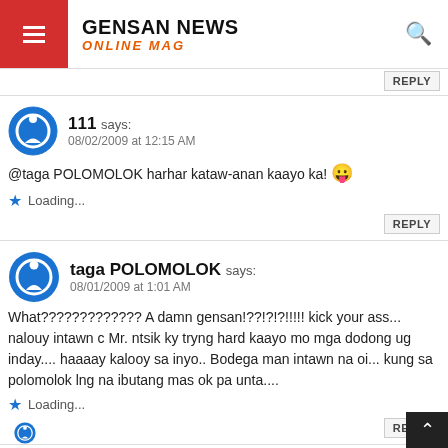GENSAN NEWS ONLINE MAG
111 says:
08/02/2009 at 12:15 AM
@taga POLOMOLOK harhar kataw-anan kaayo ka! 😛
Loading...
taga POLOMOLOK says:
08/01/2009 at 1:01 AM
What????????????? A damn gensan!??!?!?!!!!! kick your ass... nalouy intawn c Mr. ntsik ky tryng hard kaayo mo mga dodong ug inday.... haaaay kalooy sa inyo.. Bodega man intawn na oi... kung sa polomolok lng na ibutang mas ok pa unta....
Loading...